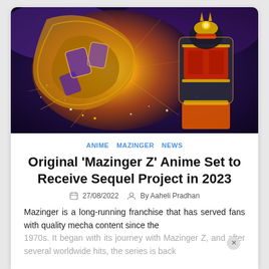[Figure (illustration): Anime mecha illustration showing Mazinger Z robot with glowing golden energy explosion and sparks against a purple/dark background. The robot is shown with red and gold armor, emitting intense light effects.]
ANIME  MAZINGER  NEWS
Original 'Mazinger Z' Anime Set to Receive Sequel Project in 2023
27/08/2022  By Aaheli Pradhan
Mazinger is a long-running franchise that has served fans with quality mecha content since the
1970s. It began with its journey with Mazinger Z, and after several worldwide hits, the series is back